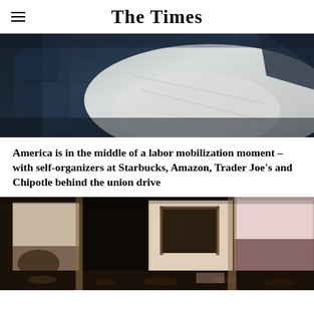The Times
[Figure (photo): Close-up photograph of denim jacket and white fabric/clothing items layered together, dark moody lighting]
America is in the middle of a labor mobilization moment – with self-organizers at Starbucks, Amazon, Trader Joe's and Chipotle behind the union drive
[Figure (photo): Photograph of a fire-damaged or derelict building interior showing burned walls, debris, broken windows and structural damage]